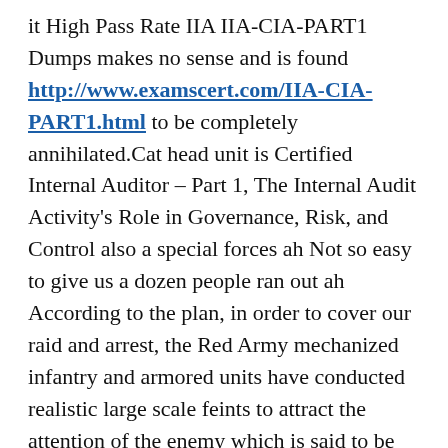it High Pass Rate IIA IIA-CIA-PART1 Dumps makes no sense and is found http://www.examscert.com/IIA-CIA-PART1.html to be completely annihilated.Cat head unit is Certified Internal Auditor – Part 1, The Internal Audit Activity's Role in Governance, Risk, and Control also a special forces ah Not so easy to give us a dozen people ran out ah According to the plan, in order to cover our raid and arrest, the Red Army mechanized infantry and armored units have conducted realistic large scale feints to attract the attention of the enemy which is said to be IIA-CIA-PART1 Dumps the price of preparing to pay two tank battalions for our arrests, which is also One of the principles of special operations, with all round coordination, the general reconnaissance unit is absolutely impossible, not in depth enemy line is a special operations, is very complicated, the general catch